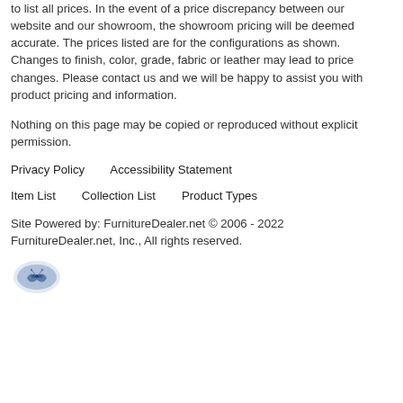specification error in product description, pricing or offers is subject to correction or verification (including after an order has been placed). We ask that you contact us directly and visit our store to confirm information about pricing, color, features, dimensions, availability and special order lead times.
Online Pricing - While we strive for accuracy, manufacturer online pricing restrictions and ever changing selection makes it unfeasible to list all prices. In the event of a price discrepancy between our website and our showroom, the showroom pricing will be deemed accurate. The prices listed are for the configurations as shown. Changes to finish, color, grade, fabric or leather may lead to price changes. Please contact us and we will be happy to assist you with product pricing and information.
Nothing on this page may be copied or reproduced without explicit permission.
Privacy Policy    Accessibility Statement
Item List    Collection List    Product Types
Site Powered by: FurnitureDealer.net © 2006 - 2022 FurnitureDealer.net, Inc., All rights reserved.
[Figure (logo): Small decorative logo/badge illustration in blue/grey tones]